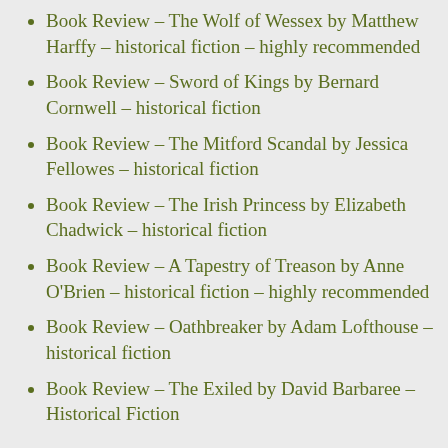Book Review – The Wolf of Wessex by Matthew Harffy – historical fiction – highly recommended
Book Review – Sword of Kings by Bernard Cornwell – historical fiction
Book Review – The Mitford Scandal by Jessica Fellowes – historical fiction
Book Review – The Irish Princess by Elizabeth Chadwick – historical fiction
Book Review – A Tapestry of Treason by Anne O'Brien – historical fiction – highly recommended
Book Review – Oathbreaker by Adam Lofthouse – historical fiction
Book Review – The Exiled by David Barbaree – Historical Fiction